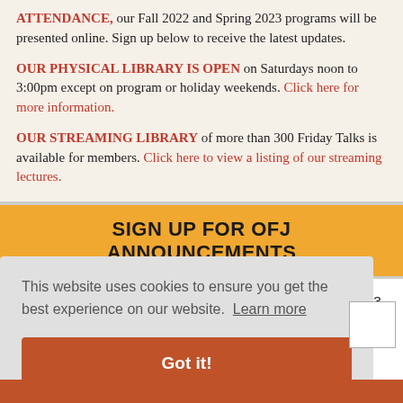ATTENDANCE, our Fall 2022 and Spring 2023 programs will be presented online. Sign up below to receive the latest updates.
OUR PHYSICAL LIBRARY IS OPEN on Saturdays noon to 3:00pm except on program or holiday weekends. Click here for more information.
OUR STREAMING LIBRARY of more than 300 Friday Talks is available for members. Click here to view a listing of our streaming lectures.
SIGN UP FOR OFJ ANNOUNCEMENTS
Sign up to receive Jung quotes, news about our 2022-2023
This website uses cookies to ensure you get the best experience on our website. Learn more
Got it!